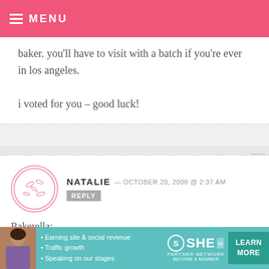MENU
baker. you'll have to visit with a batch if you're ever in los angeles.

i voted for you – good luck!
NATALIE — OCTOBER 20, 2008 @ 2:37 AM  REPLY

Bakerella:

Love the blog! Just wanted to let you know I linked you! :)

http://ovenlove.blogspot.com/2008/10/
[Figure (infographic): SHE Partner Network advertisement banner with photo of woman, bullet points about earning site & social revenue, traffic growth, speaking on our stages, SHE logo, and LEARN MORE button]